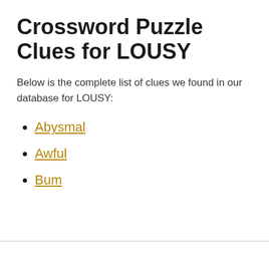Crossword Puzzle Clues for LOUSY
Below is the complete list of clues we found in our database for LOUSY:
Abysmal
Awful
Bum